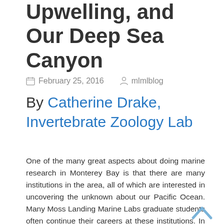Upwelling, and Our Deep Sea Canyon
February 25, 2016   mlmlblog
By Catherine Drake, Invertebrate Zoology Lab
One of the many great aspects about doing marine research in Monterey Bay is that there are many institutions in the area, all of which are interested in uncovering the unknown about our Pacific Ocean. Many Moss Landing Marine Labs graduate students often continue their careers at these institutions. In fact, right down the street from our lab is Monterey Bay Aquarium Research Institute (MBARI...